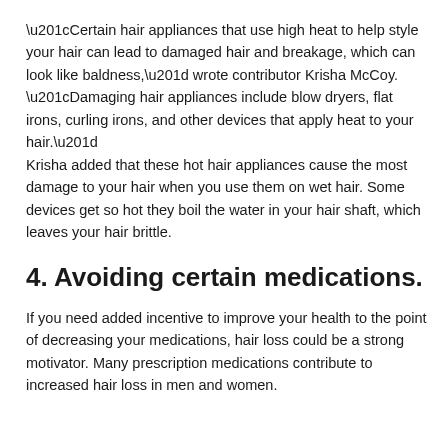styling products are one of the biggest culprits to increased hair loss.
“Certain hair appliances that use high heat to help style your hair can lead to damaged hair and breakage, which can look like baldness,” wrote contributor Krisha McCoy. “Damaging hair appliances include blow dryers, flat irons, curling irons, and other devices that apply heat to your hair.” Krisha added that these hot hair appliances cause the most damage to your hair when you use them on wet hair. Some devices get so hot they boil the water in your hair shaft, which leaves your hair brittle.
4. Avoiding certain medications.
If you need added incentive to improve your health to the point of decreasing your medications, hair loss could be a strong motivator. Many prescription medications contribute to increased hair loss in men and women.